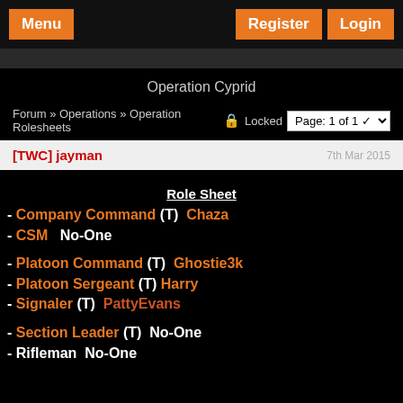Menu   Register  Login
Operation Cyprid
Forum » Operations » Operation Rolesheets   🔒 Locked   Page: 1 of 1
[TWC] jayman   7th Mar 2015
Role Sheet
- Company Command (T)  Chaza
- CSM   No-One
- Platoon Command (T)  Ghostie3k
- Platoon Sergeant (T)  Harry
- Signaler (T)  PattyEvans
- Section Leader (T)  No-One
- Rifleman  No-One